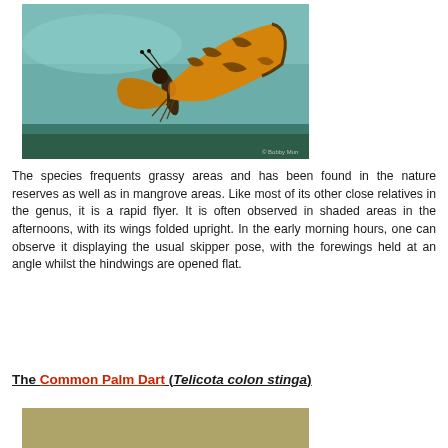[Figure (photo): Close-up photograph of an orange and brown skipper butterfly (likely Common Palm Dart) resting on a large green leaf with wings folded upright. The butterfly is orange with dark brown patterning. Photo credit: © Bobby Mun]
The species frequents grassy areas and has been found in the nature reserves as well as in mangrove areas. Like most of its other close relatives in the genus, it is a rapid flyer. It is often observed in shaded areas in the afternoons, with its wings folded upright. In the early morning hours, one can observe it displaying the usual skipper pose, with the forewings held at an angle whilst the hindwings are opened flat.
The Common Palm Dart (Telicota colon stinga)
[Figure (photo): Partial view of another butterfly photograph showing a tan/olive colored background, cut off at bottom of page.]